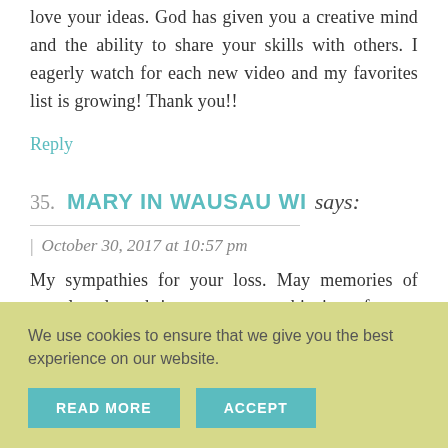love your ideas. God has given you a creative mind and the ability to share your skills with others. I eagerly watch for each new video and my favorites list is growing! Thank you!!
Reply
35. MARY IN WAUSAU WI says:
October 30, 2017 at 10:57 pm
My sympathies for your loss. May memories of your loved one bring you peace at this time of
We use cookies to ensure that we give you the best experience on our website.
READ MORE
ACCEPT